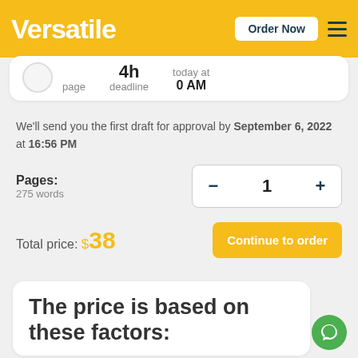Versatile | Order Now
page | 4h deadline | today at 0 AM
We'll send you the first draft for approval by September 6, 2022 at 16:56 PM
Pages:
275 words
[quantity control: 1]
Total price: $38 | Continue to order
The price is based on these factors: